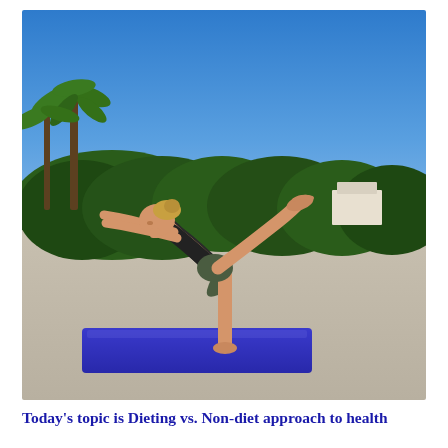[Figure (photo): A woman performing a yoga balance pose (Warrior III / Virabhadrasana III) on a blue yoga mat outdoors. She is balancing on one leg with her body horizontal, arms reaching forward and one leg extended behind. Background shows blue sky, green shrubs, and a dry Mediterranean landscape.]
Today's topic is Dieting vs. Non-diet approach to health